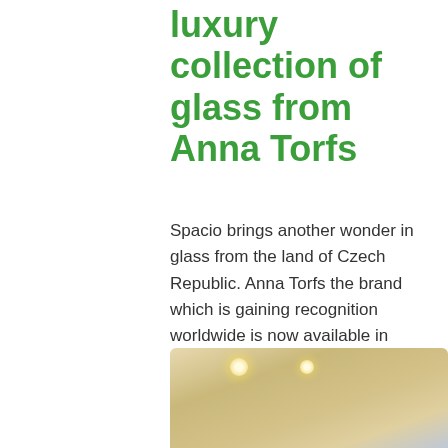luxury collection of glass from Anna Torfs
Spacio brings another wonder in glass from the land of Czech Republic. Anna Torfs the brand which is gaining recognition worldwide is now available in Spacio. The Armadillo sphere from Edition collection in glass is a real work of art which captures the real quality of glass's ability to capture, reflect and absorb light. The art objects in glass is a ...
[Figure (photo): Interior photo showing a warm-lit room with ceiling spotlights and glass art objects, partially visible at the bottom of the page.]